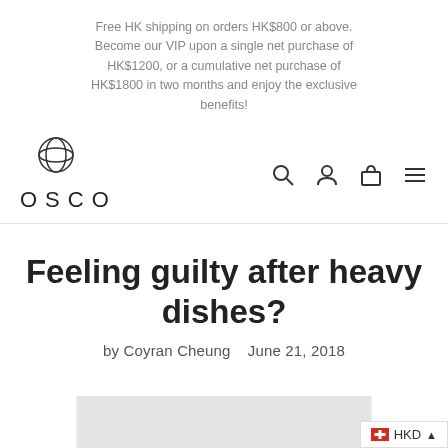Free HK shipping on orders HK$800 or above. Become our VIP upon a single net purchase of HK$1200, or a cumulative net purchase of HK$1800 in two months and enjoy the exclusive benefits!
[Figure (logo): OSCO brand logo with circular globe-like icon above the text OSCO in spaced capitals]
[Figure (other): Navigation icons: search (magnifying glass), user/account, shopping bag, and hamburger menu lines]
Feeling guilty after heavy dishes?
by Coyran Cheung   June 21, 2018
[Figure (photo): Partial image at bottom of page, appears to be a food or dish photo, mostly cut off; light gray placeholder visible]